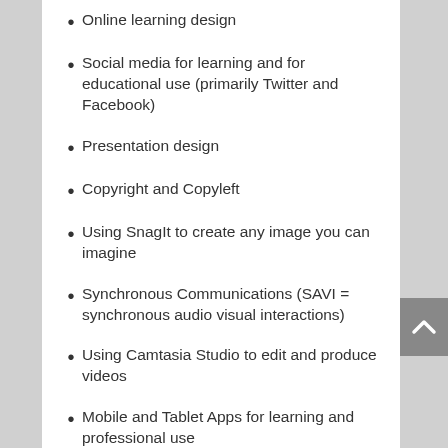Online learning design
Social media for learning and for educational use (primarily Twitter and Facebook)
Presentation design
Copyright and Copyleft
Using SnagIt to create any image you can imagine
Synchronous Communications (SAVI = synchronous audio visual interactions)
Using Camtasia Studio to edit and produce videos
Mobile and Tablet Apps for learning and professional use
Using games to teach/learn concepts
Finding and using Classroom Response Questions
Wolfram Alpha Workshop (trust me, it's not just for math folks)